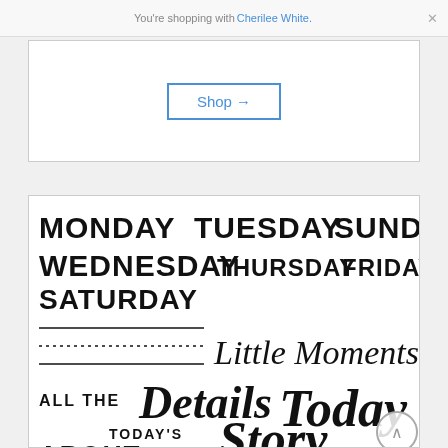You're shopping with Cherilee White.
Shop →
[Figure (illustration): A stamp set product image showing days of the week (MONDAY, TUESDAY, SUNDAY, WEDNESDAY, THURSDAY, FRIDAY, SATURDAY) in bold block lettering, lines for journaling, and script lettering phrases: 'Little Moments', 'ALL THE Details', 'Today', 'TODAY'S Story', 'ABOUT']